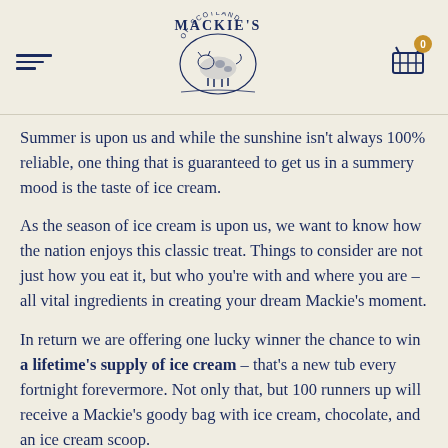[Figure (logo): Mackie's of Scotland logo with illustrated cow and text]
Summer is upon us and while the sunshine isn't always 100% reliable, one thing that is guaranteed to get us in a summery mood is the taste of ice cream.
As the season of ice cream is upon us, we want to know how the nation enjoys this classic treat. Things to consider are not just how you eat it, but who you're with and where you are – all vital ingredients in creating your dream Mackie's moment.
In return we are offering one lucky winner the chance to win a lifetime's supply of ice cream – that's a new tub every fortnight forevermore. Not only that, but 100 runners up will receive a Mackie's goody bag with ice cream, chocolate, and an ice cream scoop.